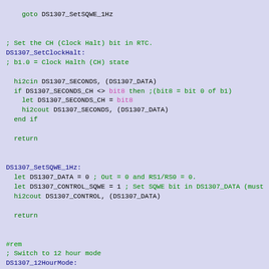Assembly/BASIC source code fragment for DS1307 RTC routines including SetClockHalt, SetSQWE_1Hz, and 12HourMode